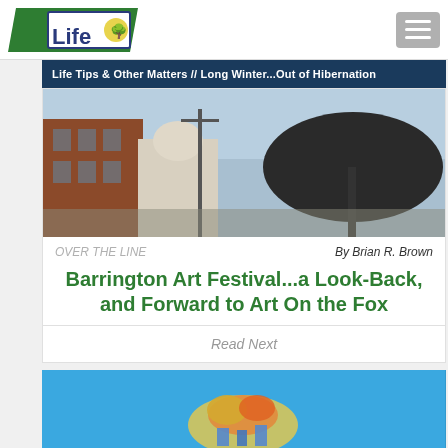[Figure (logo): McHenry Life logo with green parallelogram shape and tree icon]
[Figure (other): Hamburger menu button (three horizontal white lines on gray background)]
Life Tips & Other Matters // Long Winter...Out of Hibernation
[Figure (photo): Street scene with brick buildings and large black umbrella/awning]
OVER THE LINE
By Brian R. Brown
Barrington Art Festival...a Look-Back, and Forward to Art On the Fox
Read Next
[Figure (photo): Blue background with glass art sculpture]